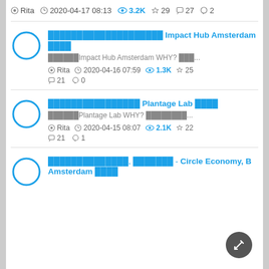Rita  2020-04-17 08:13  3.2K  29  27  2
████████████████████ Impact Hub Amsterdam ████ — ██████Impact Hub Amsterdam WHY? ███... — Rita 2020-04-16 07:59 1.3K 25 21 0
████████████████ Plantage Lab ████ — ██████Plantage Lab WHY? ████████... — Rita 2020-04-15 08:07 2.1K 22 21 1
██████████████, ███████ - Circle Economy, B Amsterdam ████